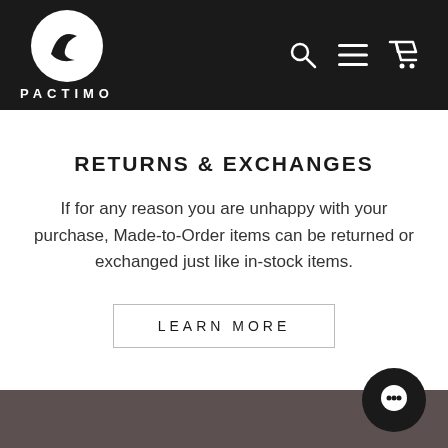[Figure (logo): Pactimo brand logo: white circle with black swoosh/wing shape, text PACTIMO below in white capital letters on dark navigation bar]
RETURNS & EXCHANGES
If for any reason you are unhappy with your purchase, Made-to-Order items can be returned or exchanged just like in-stock items.
LEARN MORE
[Figure (screenshot): Dark grey/brown lower section of page with a circular black chat bubble icon in the bottom right corner]